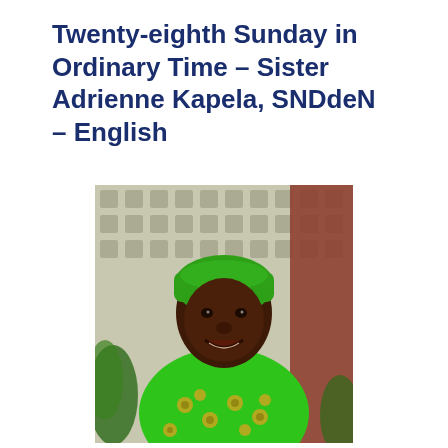Twenty-eighth Sunday in Ordinary Time – Sister Adrienne Kapela, SNDdeN – English
[Figure (photo): Portrait photo of Sister Adrienne Kapela, a woman wearing a bright green patterned (floral/ankara) dress and a green headscarf, smiling, photographed outdoors in front of a concrete lattice wall and reddish-brown wall with green plants visible.]